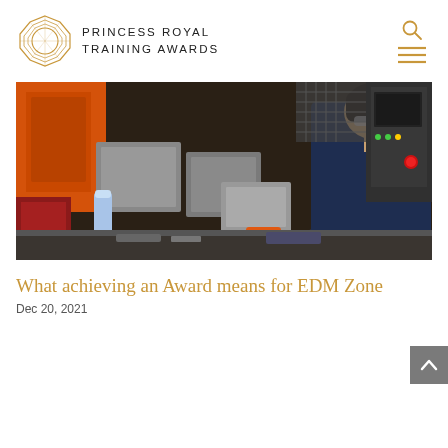PRINCESS ROYAL TRAINING AWARDS
[Figure (photo): A young man in a dark navy boilersuit leaning over a workbench in an industrial workshop, working with machinery and tools. Background shows orange CNC machines and industrial equipment.]
What achieving an Award means for EDM Zone
Dec 20, 2021